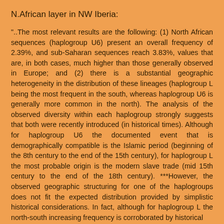N.African layer in NW Iberia:
"..The most relevant results are the following: (1) North African sequences (haplogroup U6) present an overall frequency of 2.39%, and sub-Saharan sequences reach 3.83%, values that are, in both cases, much higher than those generally observed in Europe; and (2) there is a substantial geographic heterogeneity in the distribution of these lineages (haplogroup L being the most frequent in the south, whereas haplogroup U6 is generally more common in the north). The analysis of the observed diversity within each haplogroup strongly suggests that both were recently introduced (in historical times). Although for haplogroup U6 the documented event that is demographically compatible is the Islamic period (beginning of the 8th century to the end of the 15th century), for haplogroup L the most probable origin is the modern slave trade (mid 15th century to the end of the 18th century). ***However, the observed geographic structuring for one of the haplogroups does not fit the expected distribution provided by simplistic historical considerations. In fact, although for haplogroup L the north-south increasing frequency is corroborated by historical data, the opposite is observed for haplogroup U6...